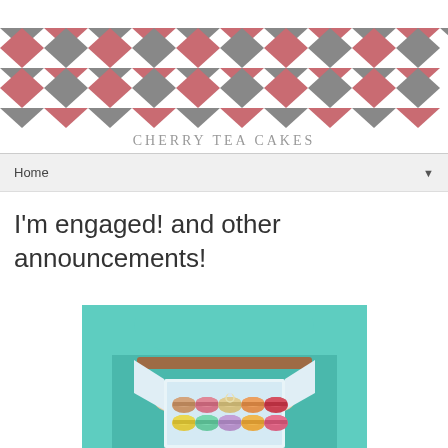[Figure (illustration): Chevron zigzag pattern banner in pink/coral and gray colors]
Cherry Tea Cakes
Home
I'm engaged! and other announcements!
[Figure (photo): Person in teal/mint dress with brown belt holding an open white box of colorful French macarons (pink, orange, yellow, teal colors). A ring is visible among the macarons.]